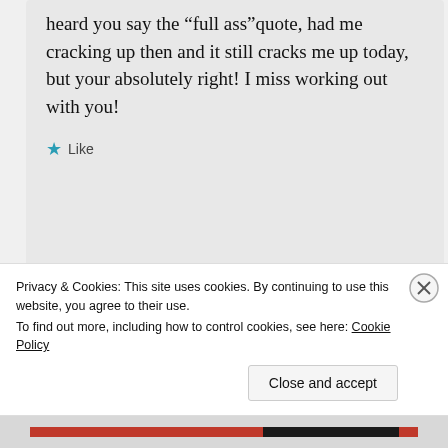heard you say the “full ass”quote, had me cracking up then and it still cracks me up today, but your absolutely right! I miss working out with you!
Like
AUGUST 6, 2015 AT 9:21 PM
REPLY
Privacy & Cookies: This site uses cookies. By continuing to use this website, you agree to their use.
To find out more, including how to control cookies, see here: Cookie Policy
Close and accept